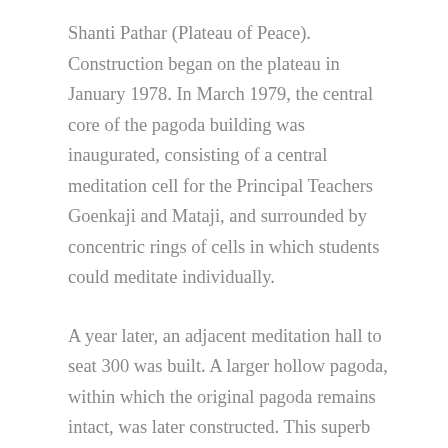Shanti Pathar (Plateau of Peace). Construction began on the plateau in January 1978. In March 1979, the central core of the pagoda building was inaugurated, consisting of a central meditation cell for the Principal Teachers Goenkaji and Mataji, and surrounded by concentric rings of cells in which students could meditate individually.
A year later, an adjacent meditation hall to seat 300 was built. A larger hollow pagoda, within which the original pagoda remains intact, was later constructed. This superb Myanmar-style structure rising fifty-five feet – with 350 meditation cells – is a replica of the famous Shwedagon Pagoda in Yangon, Myanmar, the country that carefully preserved the Buddha's practical teaching long